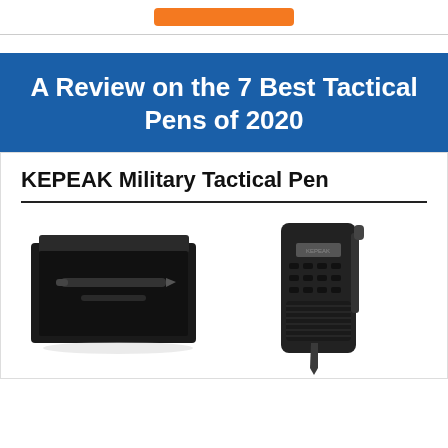[Figure (other): Orange button/banner at top of page]
A Review on the 7 Best Tactical Pens of 2020
KEPEAK Military Tactical Pen
[Figure (photo): Photo of KEPEAK Military Tactical Pen shown in black gift box on left, and close-up of the pen tip on right]